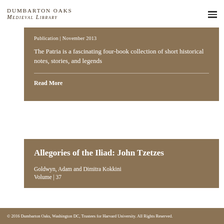Dumbarton Oaks Medieval Library
Publication | November 2013
The Patria is a fascinating four-book collection of short historical notes, stories, and legends
Read More
Allegories of the Iliad: John Tzetzes
Goldwyn, Adam and Dimitra Kokkini
Volume | 37
© 2016 Dumbarton Oaks, Washington DC, Trustees for Harvard University. All Rights Reserved.